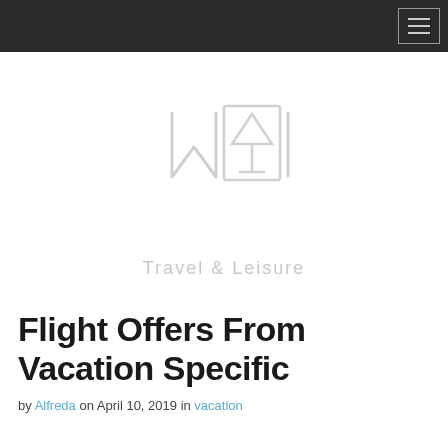[Figure (logo): MYI logo with geometric triangle/martini glass shape, light gray outline style on white background]
Travel & Leisure
Flight Offers From Vacation Specific
by Alfreda on April 10, 2019 in vacation